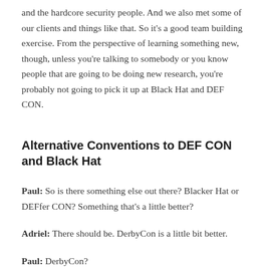and the hardcore security people. And we also met some of our clients and things like that. So it's a good team building exercise. From the perspective of learning something new, though, unless you're talking to somebody or you know people that are going to be doing new research, you're probably not going to pick it up at Black Hat and DEF CON.
Alternative Conventions to DEF CON and Black Hat
Paul: So is there something else out there? Blacker Hat or DEFfer CON? Something that's a little better?
Adriel: There should be. DerbyCon is a little bit better.
Paul: DerbyCon?